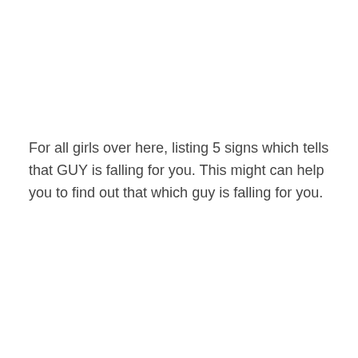For all girls over here, listing 5 signs which tells that GUY is falling for you. This might can help you to find out that which guy is falling for you.